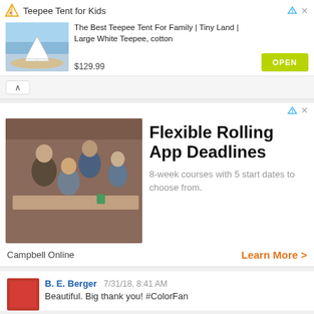[Figure (illustration): Advertisement banner for Teepee Tent for Kids with product image, title, price $129.99, and OPEN button]
[Figure (illustration): Advertisement for Campbell Online - Flexible Rolling App Deadlines, showing group meeting photo and text]
B. E. Berger  7/31/18, 8:41 AM  Beautiful. Big thank you! #ColorFan